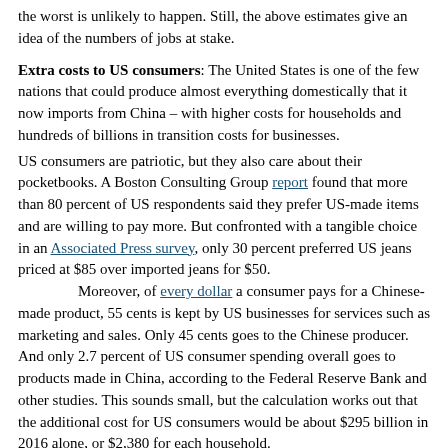the worst is unlikely to happen. Still, the above estimates give an idea of the numbers of jobs at stake.
Extra costs to US consumers: The United States is one of the few nations that could produce almost everything domestically that it now imports from China – with higher costs for households and hundreds of billions in transition costs for businesses.
US consumers are patriotic, but they also care about their pocketbooks. A Boston Consulting Group report found that more than 80 percent of US respondents said they prefer US-made items and are willing to pay more. But confronted with a tangible choice in an Associated Press survey, only 30 percent preferred US jeans priced at $85 over imported jeans for $50.
	Moreover, of every dollar a consumer pays for a Chinese-made product, 55 cents is kept by US businesses for services such as marketing and sales. Only 45 cents goes to the Chinese producer. And only 2.7 percent of US consumer spending overall goes to products made in China, according to the Federal Reserve Bank and other studies. This sounds small, but the calculation works out that the additional cost for US consumers would be about $295 billion in 2016 alone, or $2,380 for each household.
Is re-shoring realistic? In the absence of dire national emergency, US consumers won't prefer paying additional costs. The $2,380 estimate assumes replacing Chinese imports with US manufacturing. But a more realistic scenario is that if Chinese products were embargoed, production would move to other low-wage nations such as Vietnam or Bangladesh,